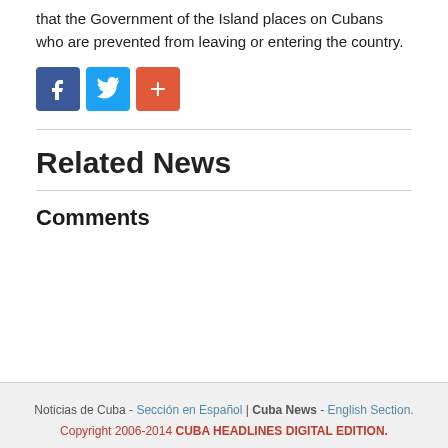that the Government of the Island places on Cubans who are prevented from leaving or entering the country.
[Figure (other): Social sharing icons: Facebook (blue), Twitter (light blue), and a red plus/more button]
Related News
Comments
Noticias de Cuba - Sección en Español | Cuba News - English Section. Copyright 2006-2014 CUBA HEADLINES DIGITAL EDITION.